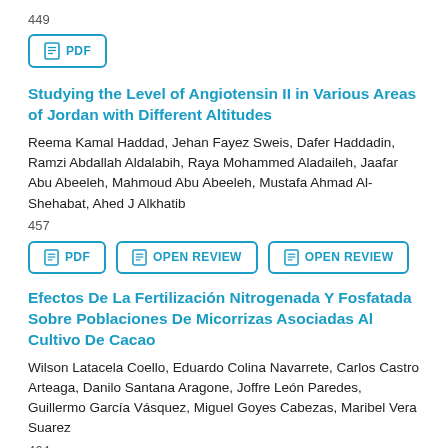449
[Figure (other): PDF button]
Studying the Level of Angiotensin II in Various Areas of Jordan with Different Altitudes
Reema Kamal Haddad, Jehan Fayez Sweis, Dafer Haddadin, Ramzi Abdallah Aldalabih, Raya Mohammed Aladaileh, Jaafar Abu Abeeleh, Mahmoud Abu Abeeleh, Mustafa Ahmad Al-Shehabat, Ahed J Alkhatib
457
[Figure (other): PDF, OPEN REVIEW, OPEN REVIEW buttons]
Efectos De La Fertilización Nitrogenada Y Fosfatada Sobre Poblaciones De Micorrizas Asociadas Al Cultivo De Cacao
Wilson Latacela Coello, Eduardo Colina Navarrete, Carlos Castro Arteaga, Danilo Santana Aragone, Joffre León Paredes, Guillermo García Vásquez, Miguel Goyes Cabezas, Maribel Vera Suarez
464